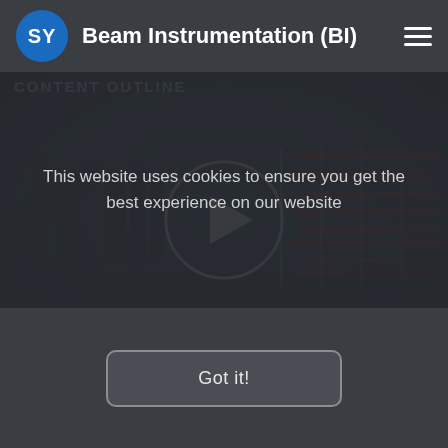SY  Beam Instrumentation (BI)
[Figure (screenshot): Video thumbnail of a particle accelerator tunnel/ring showing curved beam pipe and red cables, with a play button overlay and partial 'CONTENT OUTLINE' text visible at top left]
This website uses cookies to ensure you get the best experience on our website
Got it!